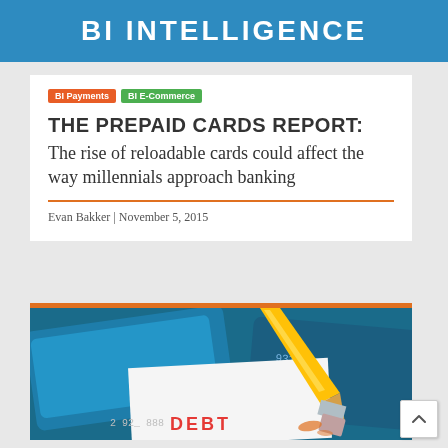BI INTELLIGENCE
BI Payments | BI E-Commerce
THE PREPAID CARDS REPORT: The rise of reloadable cards could affect the way millennials approach banking
Evan Bakker | November 5, 2015
[Figure (photo): Close-up photo of a pencil eraser erasing the word DEBT from a credit card, with card numbers visible. A blue card is in the background.]